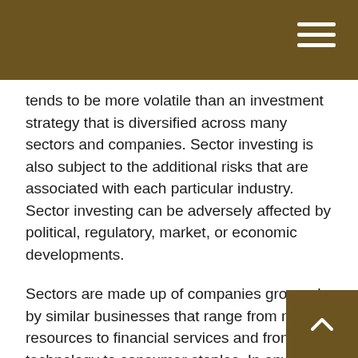tends to be more volatile than an investment strategy that is diversified across many sectors and companies. Sector investing is also subject to the additional risks that are associated with each particular industry. Sector investing can be adversely affected by political, regulatory, market, or economic developments.
Sectors are made up of companies grouped by similar businesses that range from natural resources to financial services and from technology to consumer staples. In any given year, one sector may outperform another. For example, in 2021, energy rose 47.7%, while utilities only rose 14.1%.²
Successful sector investing depends on an individual's ability to consistently and accurately determine when to rotate in and out of the various sectors, which may be a